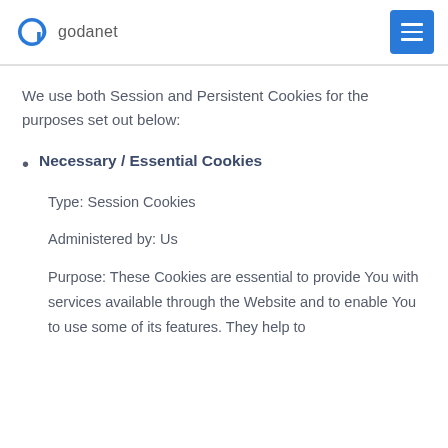godanet
We use both Session and Persistent Cookies for the purposes set out below:
Necessary / Essential Cookies
Type: Session Cookies
Administered by: Us
Purpose: These Cookies are essential to provide You with services available through the Website and to enable You to use some of its features. They help to